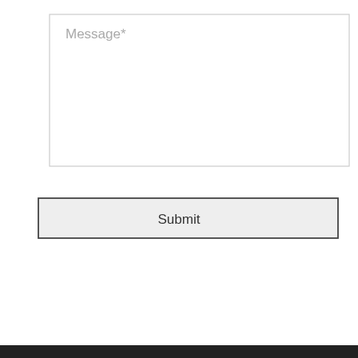[Figure (screenshot): A web form textarea with placeholder text 'Message*' and a Submit button below it, followed by a dark footer bar]
Message*
Submit